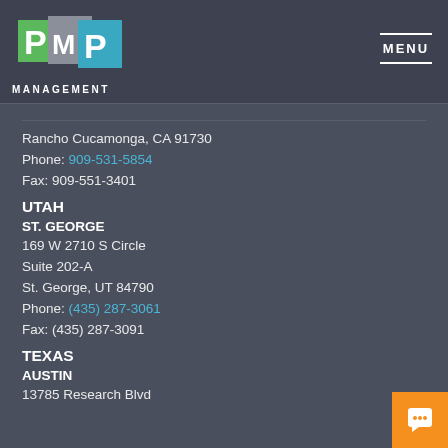[Figure (logo): PMP Management logo with green P, grey M, blue P letters and book-like shapes]
MANAGEMENT
MENU
Rancho Cucamonga, CA 91730
Phone: 909-531-5854
Fax: 909-551-3401
UTAH
ST. GEORGE
169 W 2710 S Circle
Suite 202-A
St. George, UT 84790
Phone: (435) 287-3061
Fax: (435) 287-3091
TEXAS
AUSTIN
13785 Research Blvd